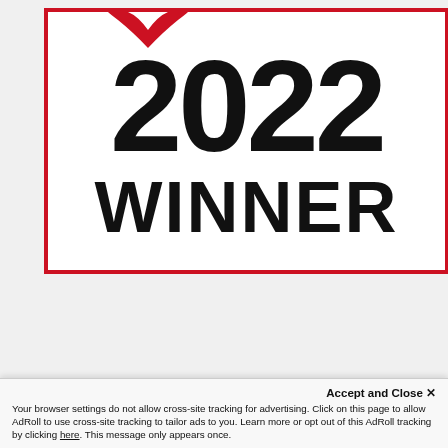[Figure (logo): 2022 WINNER award badge with red border and red decorative curl at top, large bold black text '2022' and 'WINNER' on white background]
[Figure (infographic): Dark navy blue advertisement banner: 'Watch Joel Johnson, CFP®' subtitle with 'Better Money' large text and 'Tune in every weekend on WSBL...' tagline]
Accept and Close ✕
Your browser settings do not allow cross-site tracking for advertising. Click on this page to allow AdRoll to use cross-site tracking to tailor ads to you. Learn more or opt out of this AdRoll tracking by clicking here. This message only appears once.